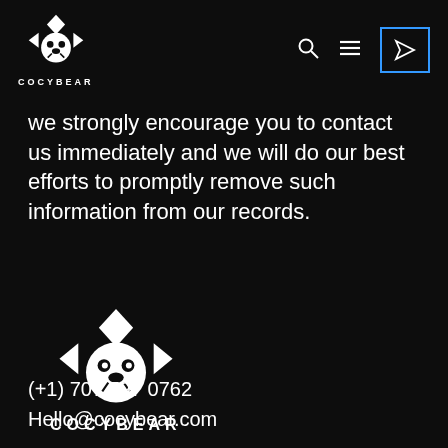COCYBEAR [logo] [search icon] [menu icon] [send icon]
we strongly encourage you to contact us immediately and we will do our best efforts to promptly remove such information from our records.
[Figure (logo): COCYBEAR logo — geometric bear face with diamond/arrow shapes, white on black, with text COCYBEAR below]
(+1) 707 797 0762
Hello@cocybear.com